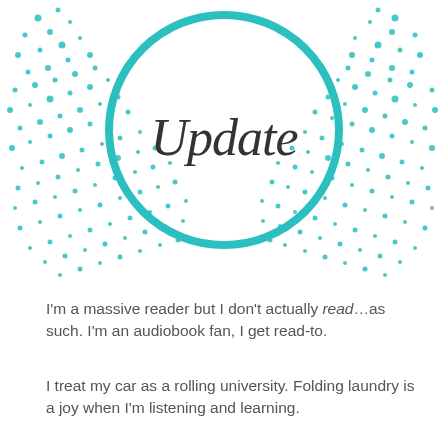[Figure (illustration): Decorative circular badge graphic with teal/turquoise ring and the italic word 'Update' in the center, surrounded by a dotted teal pattern background]
I'm a massive reader but I don't actually read…as such. I'm an audiobook fan, I get read-to.
I treat my car as a rolling university. Folding laundry is a joy when I'm listening and learning.
Waiting for the kids becomes another opportunity for self-development.
I'm also a sharer. I like to share the awesome books that inspired me. Or the books that taught me things. Or the